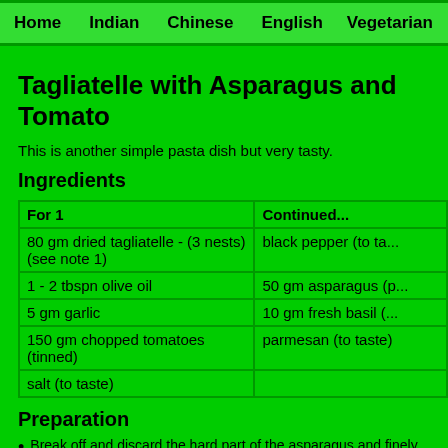Home   Indian   Chinese   English   Vegetarian
Tagliatelle with Asparagus and Tomato
This is another simple pasta dish but very tasty.
Ingredients
| For 1 | Continued... |
| --- | --- |
| 80 gm dried tagliatelle - (3 nests) (see note 1) | black pepper (to ta... |
| 1 - 2 tbspn olive oil | 50 gm asparagus (p... |
| 5 gm garlic | 10 gm fresh basil (... |
| 150 gm chopped tomatoes (tinned) | parmesan (to taste) |
| salt (to taste) |  |
Preparation
Break off and discard the hard part of the asparagus and finely chop.
Thinly slice the garlic.
Fry in the olive oil and the asparagus...